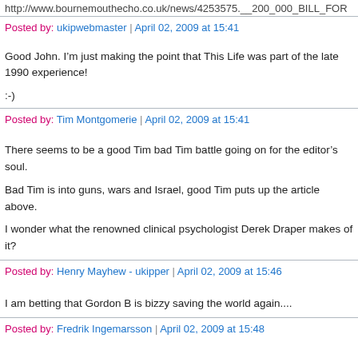http://www.bournemouthecho.co.uk/news/4253575.__200_000_BILL_FOR
Posted by: ukipwebmaster | April 02, 2009 at 15:41
Good John. I’m just making the point that This Life was part of the late 1990 experience!
:-)
Posted by: Tim Montgomerie | April 02, 2009 at 15:41
There seems to be a good Tim bad Tim battle going on for the editor’s soul.
Bad Tim is into guns, wars and Israel, good Tim puts up the article above.
I wonder what the renowned clinical psychologist Derek Draper makes of it?
Posted by: Henry Mayhew - ukipper | April 02, 2009 at 15:46
I am betting that Gordon B is bizzy saving the world again....
Posted by: Fredrik Ingemarsson | April 02, 2009 at 15:48